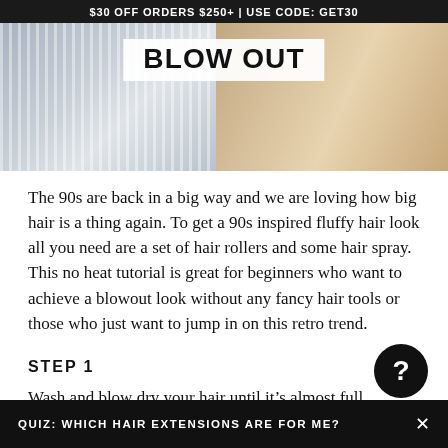$30 OFF ORDERS $250+ | USE CODE: GET30
[Figure (photo): Hero image showing two women with a 'BLOW OUT' title overlay. Left side shows a woman in a striped shirt from behind/side, right side shows a woman's long wavy blonde hair from behind.]
The 90s are back in a big way and we are loving how big hair is a thing again. To get a 90s inspired fluffy hair look all you need are a set of hair rollers and some hair spray. This no heat tutorial is great for beginners who want to achieve a blowout look without any fancy hair tools or those who just want to jump in on this retro trend.
STEP 1
Wash and blow dry your hair until it’s almost full…
QUIZ: WHICH HAIR EXTENSIONS ARE FOR ME?